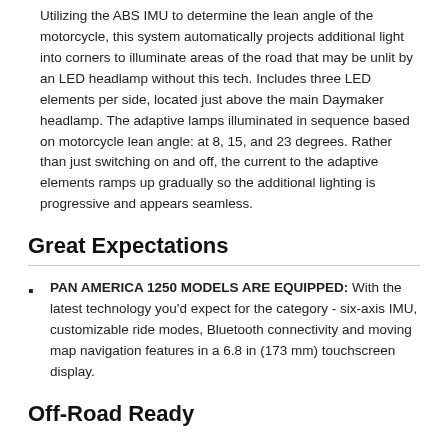Utilizing the ABS IMU to determine the lean angle of the motorcycle, this system automatically projects additional light into corners to illuminate areas of the road that may be unlit by an LED headlamp without this tech. Includes three LED elements per side, located just above the main Daymaker headlamp. The adaptive lamps illuminated in sequence based on motorcycle lean angle: at 8, 15, and 23 degrees. Rather than just switching on and off, the current to the adaptive elements ramps up gradually so the additional lighting is progressive and appears seamless.
Great Expectations
PAN AMERICA 1250 MODELS ARE EQUIPPED: With the latest technology you'd expect for the category - six-axis IMU, customizable ride modes, Bluetooth connectivity and moving map navigation features in a 6.8 in (173 mm) touchscreen display.
Off-Road Ready